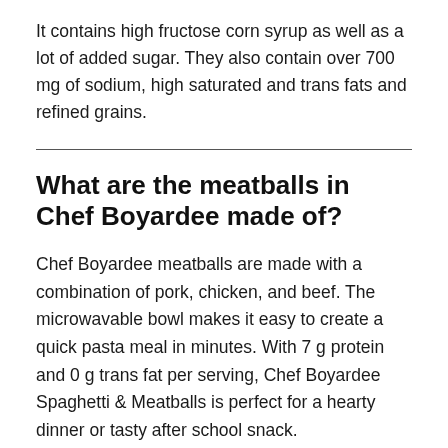It contains high fructose corn syrup as well as a lot of added sugar. They also contain over 700 mg of sodium, high saturated and trans fats and refined grains.
What are the meatballs in Chef Boyardee made of?
Chef Boyardee meatballs are made with a combination of pork, chicken, and beef. The microwavable bowl makes it easy to create a quick pasta meal in minutes. With 7 g protein and 0 g trans fat per serving, Chef Boyardee Spaghetti & Meatballs is perfect for a hearty dinner or tasty after school snack.